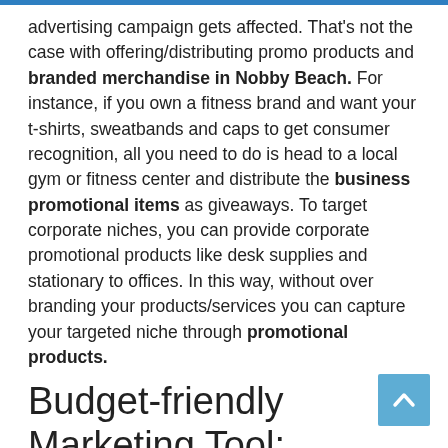advertising campaign gets affected. That's not the case with offering/distributing promo products and branded merchandise in Nobby Beach. For instance, if you own a fitness brand and want your t-shirts, sweatbands and caps to get consumer recognition, all you need to do is head to a local gym or fitness center and distribute the business promotional items as giveaways. To target corporate niches, you can provide corporate promotional products like desk supplies and stationary to offices. In this way, without over branding your products/services you can capture your targeted niche through promotional products.
Budget-friendly Marketing Tool:
You can always distribute personalised products in